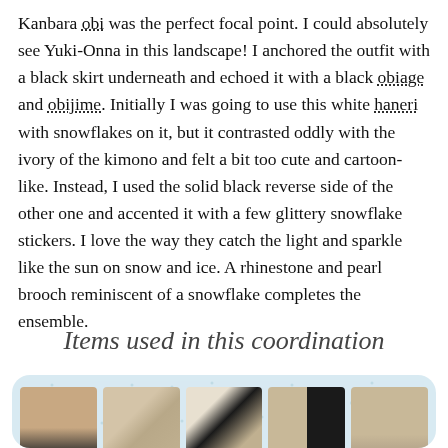Kanbara obi was the perfect focal point. I could absolutely see Yuki-Onna in this landscape! I anchored the outfit with a black skirt underneath and echoed it with a black obiage and obijime. Initially I was going to use this white haneri with snowflakes on it, but it contrasted oddly with the ivory of the kimono and felt a bit too cute and cartoon-like. Instead, I used the solid black reverse side of the other one and accented it with a few glittery snowflake stickers. I love the way they catch the light and sparkle like the sun on snow and ice. A rhinestone and pearl brooch reminiscent of a snowflake completes the ensemble.
Items used in this coordination
[Figure (photo): Row of five small product photos on a light blue snowflake-patterned background panel, showing kimono-related items: a tall fabric item, folded fabric, black and white fabric piece, black and cream fabric, and another fabric item.]